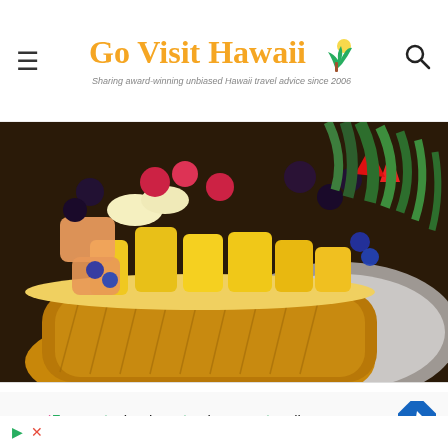Go Visit Hawaii — Sharing award-winning unbiased Hawaii travel advice since 2006
[Figure (photo): A halved pineapple used as a bowl filled with colorful fresh fruit salad including raspberries, blackberries, blueberries, pineapple chunks, cantaloupe, banana slices, and strawberries, served on a white plate.]
r Maui Restaurant Guide
sweetFrog ✓ Dine-in ✓ Takeout ✓ Delivery